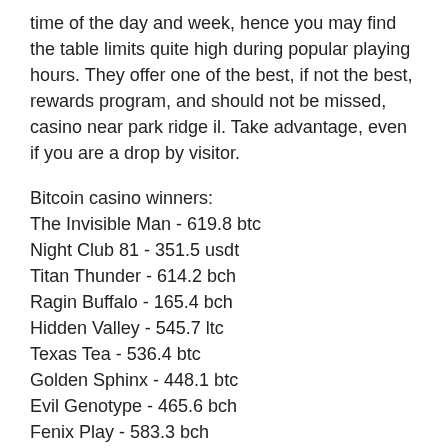time of the day and week, hence you may find the table limits quite high during popular playing hours. They offer one of the best, if not the best, rewards program, and should not be missed, casino near park ridge il. Take advantage, even if you are a drop by visitor.
Bitcoin casino winners:
The Invisible Man - 619.8 btc
Night Club 81 - 351.5 usdt
Titan Thunder - 614.2 bch
Ragin Buffalo - 165.4 bch
Hidden Valley - 545.7 ltc
Texas Tea - 536.4 btc
Golden Sphinx - 448.1 btc
Evil Genotype - 465.6 bch
Fenix Play - 583.3 bch
5 Reel Drive - 667.7 btc
Demon Jack 27 - 48.9 ltc
Bobby 7s - 280.6 ltc